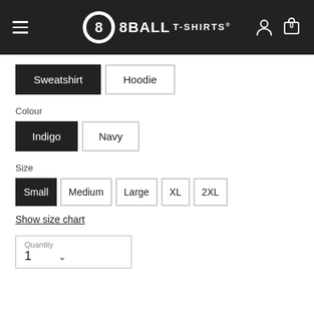8BALL T-SHIRTS
Sweatshirt (selected), Hoodie
Colour
Indigo (selected), Navy
Size
Small (selected), Medium, Large, XL, 2XL
Show size chart
Quantity
1